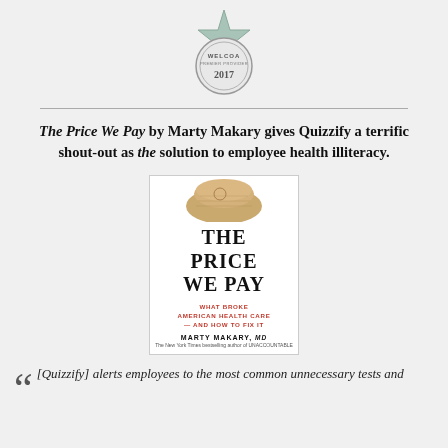[Figure (logo): WELCOA Premier Provider 2017 badge/seal with star at top, circular design]
The Price We Pay by Marty Makary gives Quizzify a terrific shout-out as the solution to employee health illiteracy.
[Figure (photo): Book cover of 'The Price We Pay' by Marty Makary MD — shows a rolled bill, title in large serif font, subtitle 'What Broke American Health Care — and How to Fix It']
[Quizzify] alerts employees to the most common unnecessary tests and